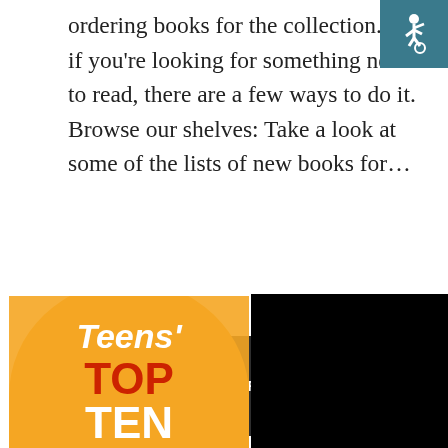[Figure (logo): Accessibility icon - wheelchair symbol on teal/dark cyan background, top right corner]
ordering books for the collection. So, if you're looking for something new to read, there are a few ways to do it. Browse our shelves: Take a look at some of the lists of new books for...
READ MORE
[Figure (logo): Teens' Top Ten logo - orange rounded rectangle shape with 'Teens' TOP TEN' text in white and red]
[Figure (photo): Black rectangle image - partially visible, right side of page, bottom section]